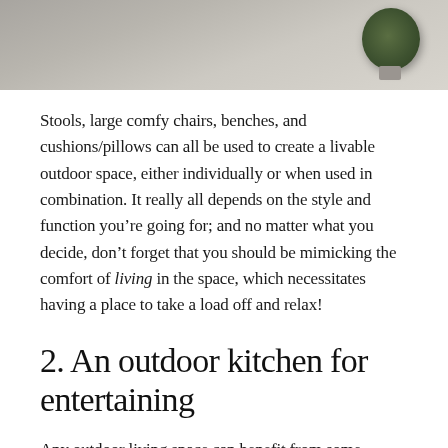[Figure (photo): Outdoor patio scene with grey concrete surface and a round topiary bush on the right side, partial view cropped at top]
Stools, large comfy chairs, benches, and cushions/pillows can all be used to create a livable outdoor space, either individually or when used in combination. It really all depends on the style and function you’re going for; and no matter what you decide, don’t forget that you should be mimicking the comfort of living in the space, which necessitates having a place to take a load off and relax!
2. An outdoor kitchen for entertaining
Any outdoor living space can benefit from some